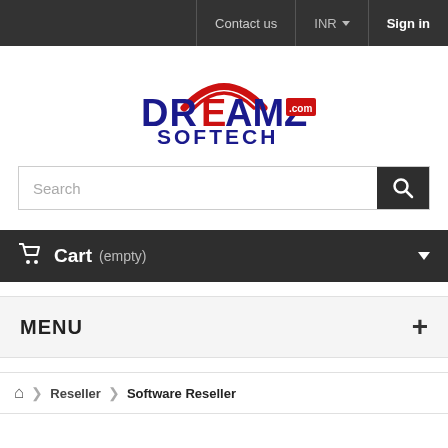Contact us  INR ▼  Sign in
[Figure (logo): Dreamz Softech logo — blue DREAMZ text with red arc above, red and blue SOFTECH below, red .com badge on right]
Search
Cart (empty)
MENU
Reseller  Software Reseller